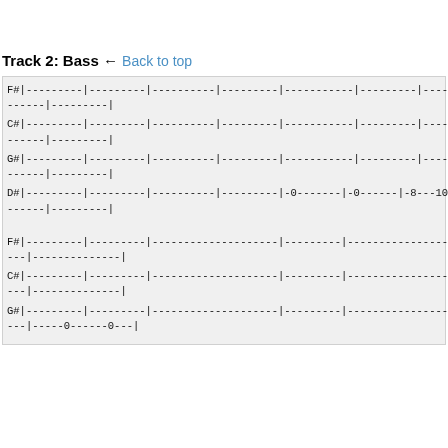Track 2: Bass ← Back to top
F#|---------|---------|----------|---------|----------|---------|-----------------
------|---------|
C#|---------|---------|----------|---------|----------|---------|-----------------
------|---------|
G#|---------|---------|----------|---------|----------|---------|-----------------
------|---------|
D#|---------|---------|----------|---------|−0------|-0------|-8---10----------
------|---------|
F#|---------|---------|--------------------|---------|--------------------------
---|--------------|
C#|---------|---------|--------------------|---------|--------------------------
---|--------------|
G#|---------|---------|--------------------|---------|--------------------------
---|-----0------0---|